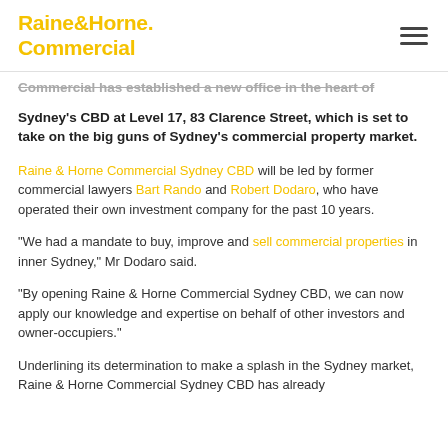Raine&Horne. Commercial
Commercial has established a new office in the heart of Sydney's CBD at Level 17, 83 Clarence Street, which is set to take on the big guns of Sydney's commercial property market.
Raine & Horne Commercial Sydney CBD will be led by former commercial lawyers Bart Rando and Robert Dodaro, who have operated their own investment company for the past 10 years.
“We had a mandate to buy, improve and sell commercial properties in inner Sydney,” Mr Dodaro said.
“By opening Raine & Horne Commercial Sydney CBD, we can now apply our knowledge and expertise on behalf of other investors and owner-occupiers.”
Underlining its determination to make a splash in the Sydney market, Raine & Horne Commercial Sydney CBD has already